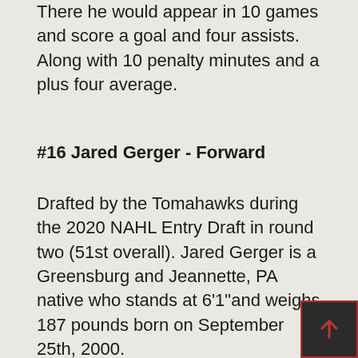There he would appear in 10 games and score a goal and four assists. Along with 10 penalty minutes and a plus four average.
#16 Jared Gerger - Forward
Drafted by the Tomahawks during the 2020 NAHL Entry Draft in round two (51st overall). Jared Gerger is a Greensburg and Jeannette, PA native who stands at 6'1"and weighs 187 pounds born on September 25th, 2000.
He spent the 2019-20 season with the Trenton Golden Hawks of the OJHL. He would play in 54 games scoring 16 goals, 17 assists, and 20 penalty minutes...